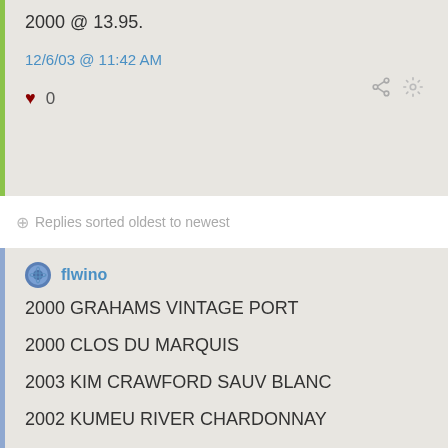2000 @ 13.95.
12/6/03 @ 11:42 AM
♥ 0
Replies sorted oldest to newest
flwino
2000 GRAHAMS VINTAGE PORT
2000 CLOS DU MARQUIS
2003 KIM CRAWFORD SAUV BLANC
2002 KUMEU RIVER CHARDONNAY